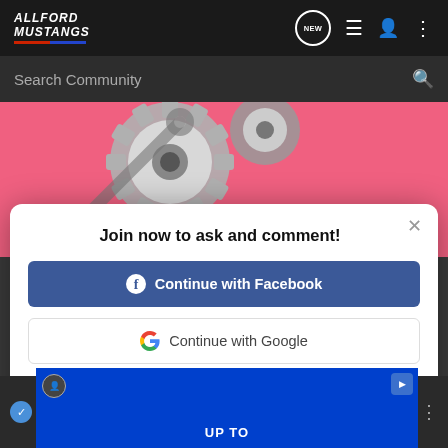ALLFORD MUSTANGS
Search Community
[Figure (screenshot): Pink banner background with metallic gears/sprockets image]
Join now to ask and comment!
Continue with Facebook
Continue with Google
or sign up with email
Discussion Started · #10 · Sep 11, 2025